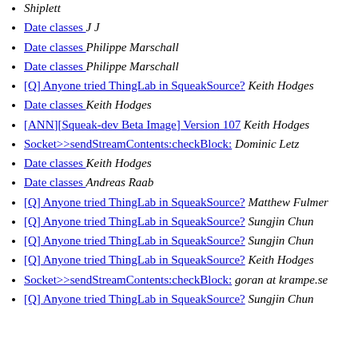Shiplett
Date classes  J J
Date classes  Philippe Marschall
Date classes  Philippe Marschall
[Q] Anyone tried ThingLab in SqueakSource?  Keith Hodges
Date classes  Keith Hodges
[ANN][Squeak-dev Beta Image] Version 107  Keith Hodges
Socket>>sendStreamContents:checkBlock:  Dominic Letz
Date classes  Keith Hodges
Date classes  Andreas Raab
[Q] Anyone tried ThingLab in SqueakSource?  Matthew Fulmer
[Q] Anyone tried ThingLab in SqueakSource?  Sungjin Chun
[Q] Anyone tried ThingLab in SqueakSource?  Sungjin Chun
[Q] Anyone tried ThingLab in SqueakSource?  Keith Hodges
Socket>>sendStreamContents:checkBlock:  goran at krampe.se
[Q] Anyone tried ThingLab in SqueakSource?  Sungjin Chun